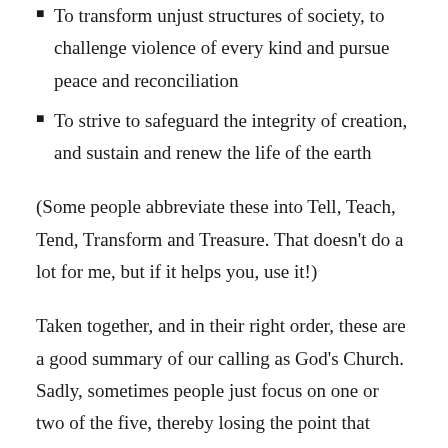To transform unjust structures of society, to challenge violence of every kind and pursue peace and reconciliation
To strive to safeguard the integrity of creation, and sustain and renew the life of the earth
(Some people abbreviate these into Tell, Teach, Tend, Transform and Treasure. That doesn't do a lot for me, but if it helps you, use it!)
Taken together, and in their right order, these are a good summary of our calling as God's Church. Sadly, sometimes people just focus on one or two of the five, thereby losing the point that mission should cover all of life. The Anglican Communion website, in introducing the Five Marks, makes the point that the first mark, proclaiming the Good News of the Kingdom, is talking about personal evangelism, and "instead of